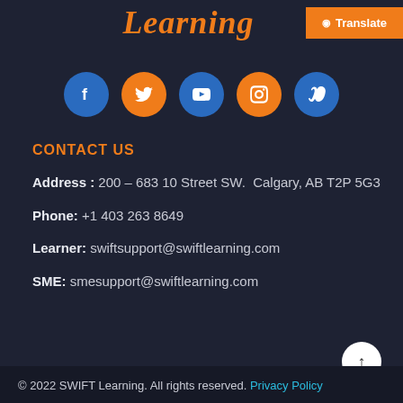Learning   Translate
[Figure (illustration): Row of five social media icon circles: Facebook (blue), Twitter (orange), YouTube (blue), Instagram (orange), Vimeo (blue)]
CONTACT US
Address : 200 – 683 10 Street SW.  Calgary, AB T2P 5G3
Phone: +1 403 263 8649
Learner: swiftsupport@swiftlearning.com
SME: smesupport@swiftlearning.com
© 2022 SWIFT Learning. All rights reserved. Privacy Policy